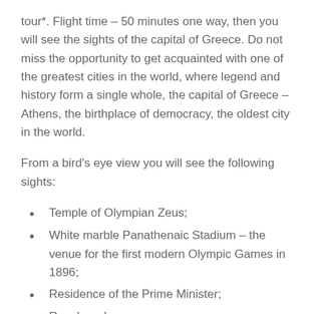tour*. Flight time – 50 minutes one way, then you will see the sights of the capital of Greece. Do not miss the opportunity to get acquainted with one of the greatest cities in the world, where legend and history form a single whole, the capital of Greece – Athens, the birthplace of democracy, the oldest city in the world.
From a bird's eye view you will see the following sights:
Temple of Olympian Zeus;
White marble Panathenaic Stadium – the venue for the first modern Olympic Games in 1896;
Residence of the Prime Minister;
Royal garden;
Constitution Square;
Lycabettus Hill and one of the most luxurious attractions not only in Greece...